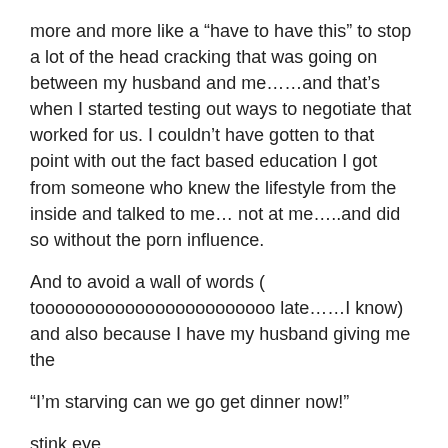more and more like a “have to have this” to stop a lot of the head cracking that was going on between my husband and me……and that’s when I started testing out ways to negotiate that worked for us. I couldn’t have gotten to that point with out the fact based education I got from someone who knew the lifestyle from the inside and talked to me… not at me…..and did so without the porn influence.
And to avoid a wall of words ( toooooooooooooooooooooooo late……I know) and also because I have my husband giving me the
“I’m starving can we go get dinner now!”
stink eye……
How I figured that out and put to use “D/S negotiation” will have to wait for a bit.